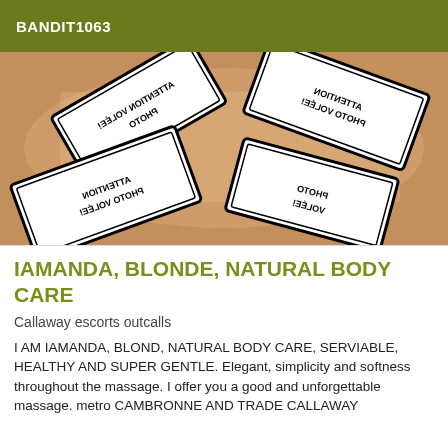BANDIT1063
[Figure (photo): Photo with multiple 'ATTENTION PHOTO VOLÉE!' warning signs overlaid on an image, signs appear mirrored/reflected in black and white text on white cards]
IAMANDA, BLONDE, NATURAL BODY CARE
Callaway escorts outcalls
I AM IAMANDA, BLOND, NATURAL BODY CARE, SERVIABLE, HEALTHY AND SUPER GENTLE. Elegant, simplicity and softness throughout the massage. I offer you a good and unforgettable massage. metro CAMBRONNE AND TRADE CALLAWAY